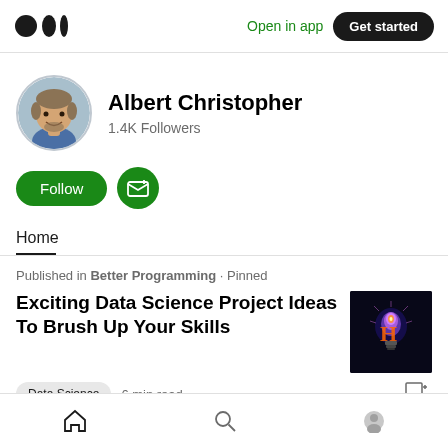Open in app  Get started
Albert Christopher
1.4K Followers
Follow
Home
Published in Better Programming · Pinned
Exciting Data Science Project Ideas To Brush Up Your Skills
[Figure (photo): Thumbnail image of a glowing light bulb on dark background]
Data Science  6 min read
Home navigation bar with home icon, search icon, profile icon